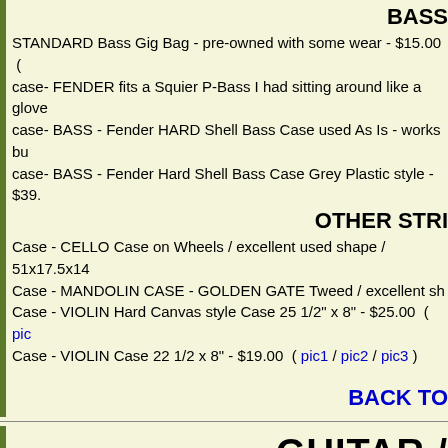BASS
STANDARD Bass Gig Bag - pre-owned with some wear - $15.00
case- FENDER fits a Squier P-Bass I had sitting around like a glove
case- BASS - Fender HARD Shell Bass Case used As Is - works bu
case- BASS - Fender Hard Shell Bass Case Grey Plastic style - $39.
OTHER STRI
Case - CELLO Case on Wheels / excellent used shape / 51x17.5x14
Case - MANDOLIN CASE - GOLDEN GATE Tweed / excellent sh
Case - VIOLIN Hard Canvas style Case 25 1/2" x 8" - $25.00  ( pic
Case - VIOLIN Case 22 1/2 x 8" - $19.00  ( pic1 / pic2 / pic3 )
BACK TO
GUITAR /
Guitar Combo A
BOSS / ROLAND KTN-50 Katar Multi Effect Amp. Super clean.
Katana has some cosmetic damage from 05-2019 break in pri
CRATE GX15 Guitar Practice Amp - pre-owned - $79.00  ( pic1 /
CRATE Model DXB-112 USA Made Guitar Amplifier w/digital E
DBX-112 has some cosmetic damage from 05-2019 break in p
EPIPHONE Valve Jr. 5 Watt Tube Amp - sounds great - front logo got this since. That's how STM rolls sometimes. - $185.00 ( pic1 / p
FENDER MD20 battery operated guitar amp. Exc Pre-owned $30